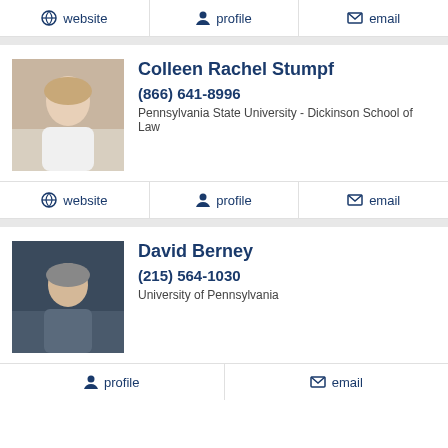website | profile | email
[Figure (photo): Profile photo of Colleen Rachel Stumpf]
Colleen Rachel Stumpf
(866) 641-8996
Pennsylvania State University - Dickinson School of Law
website | profile | email
[Figure (photo): Profile photo of David Berney]
David Berney
(215) 564-1030
University of Pennsylvania
profile | email